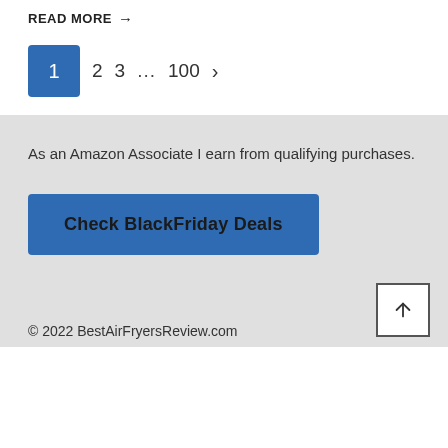READ MORE →
1  2  3  ...  100  >
As an Amazon Associate I earn from qualifying purchases.
Check BlackFriday Deals
© 2022 BestAirFryersReview.com